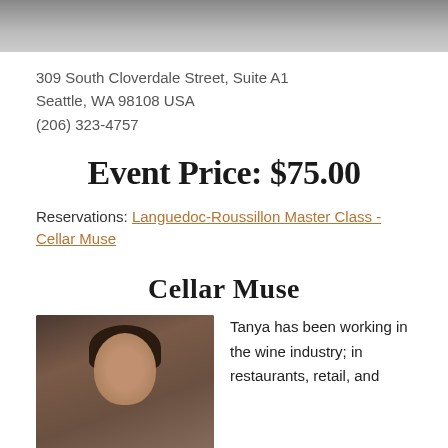[Figure (photo): Partial top image of barrels or wine cellar setting]
309 South Cloverdale Street, Suite A1
Seattle, WA 98108 USA
(206) 323-4757
Event Price: $75.00
Reservations: Languedoc-Roussillon Master Class - Cellar Muse
Cellar Muse
[Figure (photo): Portrait photo of a woman with curly dark hair and round glasses]
Tanya has been working in the wine industry; in restaurants, retail, and